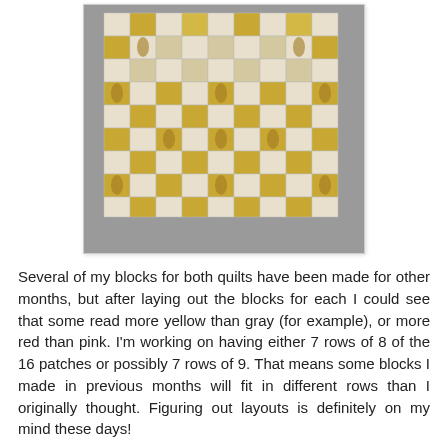[Figure (photo): A photograph of a quilt block layout arranged on a gray carpet surface, featuring a checkerboard pattern of cream/white and golden-yellow/mustard fabric squares, laid out in a 9x9 or similar grid pattern.]
Several of my blocks for both quilts have been made for other months, but after laying out the blocks for each I could see that some read more yellow than gray (for example), or more red than pink.  I'm working on having either 7 rows of 8 of the 16 patches or possibly 7 rows of 9.  That means some blocks I made in previous months will fit in different rows than I originally thought.  Figuring out layouts is definitely on my mind these days!
To see what the other Rainbow Scrap Quilters have been making with red and gold this week, check out the Scrap